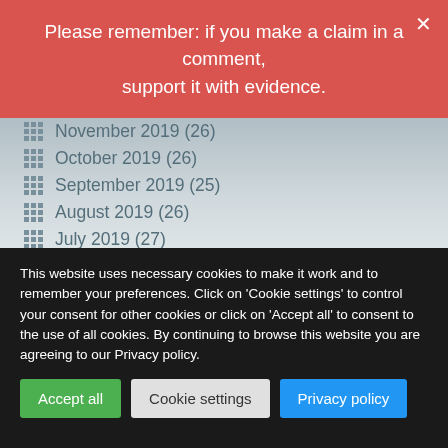Please remember: if you make a claim in a comment, support it with evidence.
November 2019 (26)
October 2019 (26)
September 2019 (25)
August 2019 (26)
July 2019 (27)
June 2019 (25)
May 2019 (30)
April 2019 (25)
March 2019 (24)
This website uses necessary cookies to make it work and to remember your preferences. Click on 'Cookie settings' to control your consent for other cookies or click on 'Accept all' to consent to the use of all cookies. By continuing to browse this website you are agreeing to our Privacy policy.